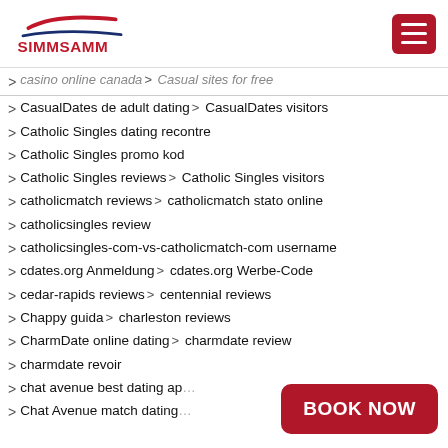[Figure (logo): SIMMSAMM logo with red and blue swoosh graphic above bold red text SIMMSAMM]
casino online canada  Casual sites for free
CasualDates de adult dating  CasualDates visitors
Catholic Singles dating recontre
Catholic Singles promo kod
Catholic Singles reviews  Catholic Singles visitors
catholicmatch reviews  catholicmatch stato online
catholicsingles review
catholicsingles-com-vs-catholicmatch-com username
cdates.org Anmeldung  cdates.org Werbe-Code
cedar-rapids reviews  centennial reviews
Chappy guida  charleston reviews
CharmDate online dating  charmdate review
charmdate revoir
chat avenue best dating ap…
Chat Avenue match dating…